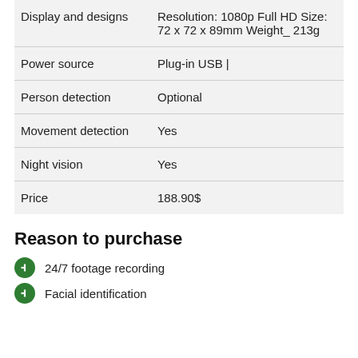| Feature | Value |
| --- | --- |
| Display and designs | Resolution: 1080p Full HD Size: 72 x 72 x 89mm Weight_ 213g |
| Power source | Plug-in USB | |
| Person detection | Optional |
| Movement detection | Yes |
| Night vision | Yes |
| Price | 188.90$ |
Reason to purchase
24/7 footage recording
Facial identification